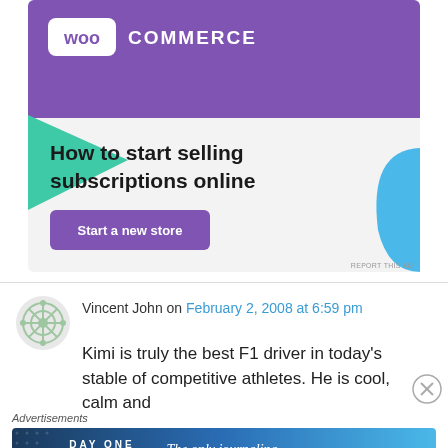[Figure (illustration): WooCommerce advertisement banner with purple header, WooCommerce logo, teal green shape on left, blue shape on right, headline 'How to start selling subscriptions online', and a purple 'Start a new store' button.]
Vincent John on February 2, 2008 at 6:59 pm
Kimi is truly the best F1 driver in today's stable of competitive athletes. He is cool, calm and
Advertisements
[Figure (illustration): Day One journaling app advertisement with dark blue gradient background, DAY ONE logo, icons, and text 'The only journaling app you'll ever need.']